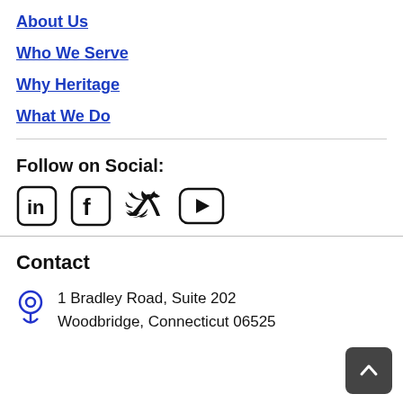About Us
Who We Serve
Why Heritage
What We Do
Follow on Social:
[Figure (illustration): Four social media icons: LinkedIn, Facebook, Twitter/X, YouTube]
Contact
1 Bradley Road, Suite 202
Woodbridge, Connecticut 06525